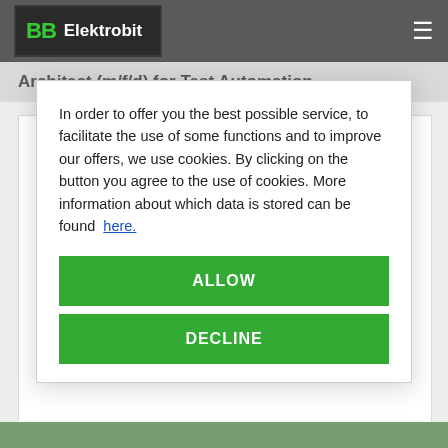Elektrobit
Architect (m/f/d) for Test Automation
Assistant to Head of Marketing
Ausbildung zum Informatikkauffmann (m/w/d) in Anwendungsentwicklung
Automotive Embedded Software Engineer (m/f/d)
In order to offer you the best possible service, to facilitate the use of some functions and to improve our offers, we use cookies. By clicking on the button you agree to the use of cookies. More information about which data is stored can be found here.
ALLOW
DECLINE
1  2  3  ...  10